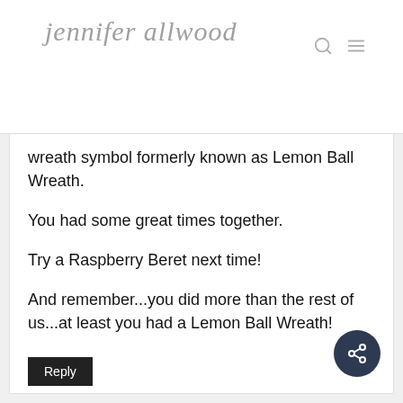jennifer allwood
wreath symbol formerly known as Lemon Ball Wreath.
You had some great times together.
Try a Raspberry Beret next time!
And remember...you did more than the rest of us...at least you had a Lemon Ball Wreath!
Reply